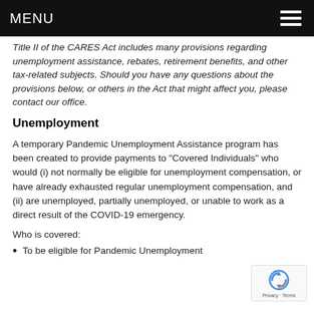MENU
Title II of the CARES Act includes many provisions regarding unemployment assistance, rebates, retirement benefits, and other tax-related subjects. Should you have any questions about the provisions below, or others in the Act that might affect you, please contact our office.
Unemployment
A temporary Pandemic Unemployment Assistance program has been created to provide payments to "Covered Individuals" who would (i) not normally be eligible for unemployment compensation, or have already exhausted regular unemployment compensation, and (ii) are unemployed, partially unemployed, or unable to work as a direct result of the COVID-19 emergency.
Who is covered:
To be eligible for Pandemic Unemployment